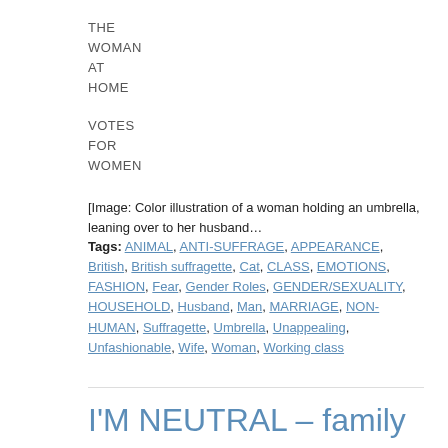THE WOMAN AT HOME
VOTES FOR WOMEN
[Image: Color illustration of a woman holding an umbrella, leaning over to her husband…
Tags: ANIMAL, ANTI-SUFFRAGE, APPEARANCE, British, British suffragette, Cat, CLASS, EMOTIONS, FASHION, Fear, Gender Roles, GENDER/SEXUALITY, HOUSEHOLD, Husband, Man, MARRIAGE, NON-HUMAN, Suffragette, Umbrella, Unappealing, Unfashionable, Wife, Woman, Working class
I'M NEUTRAL – family